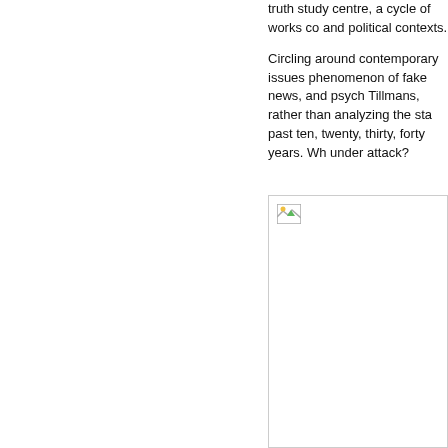truth study centre, a cycle of works co and political contexts.
Circling around contemporary issues phenomenon of fake news, and psych Tillmans, rather than analyzing the sta past ten, twenty, thirty, forty years. Wh under attack?
[Figure (photo): A broken/missing image placeholder rectangle with a small broken image icon in the top-left corner.]